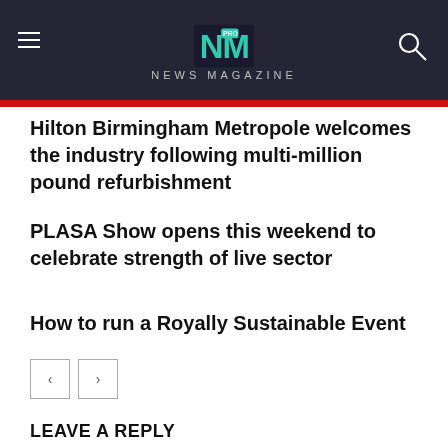NEWS MAGAZINE
Hilton Birmingham Metropole welcomes the industry following multi-million pound refurbishment
PLASA Show opens this weekend to celebrate strength of live sector
How to run a Royally Sustainable Event
LEAVE A REPLY